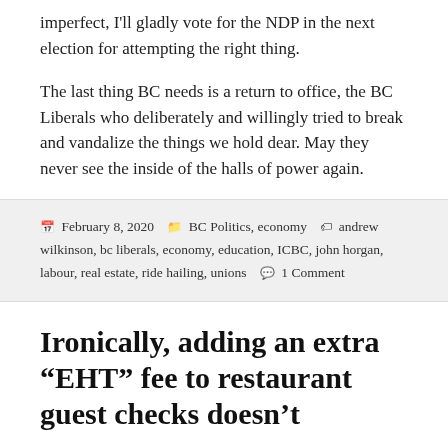imperfect, I'll gladly vote for the NDP in the next election for attempting the right thing.
The last thing BC needs is a return to office, the BC Liberals who deliberately and willingly tried to break and vandalize the things we hold dear. May they never see the inside of the halls of power again.
February 8, 2020   BC Politics, economy   andrew wilkinson, bc liberals, economy, education, ICBC, john horgan, labour, real estate, ride hailing, unions   1 Comment
Ironically, adding an extra “EHT” fee to restaurant guest checks doesn’t